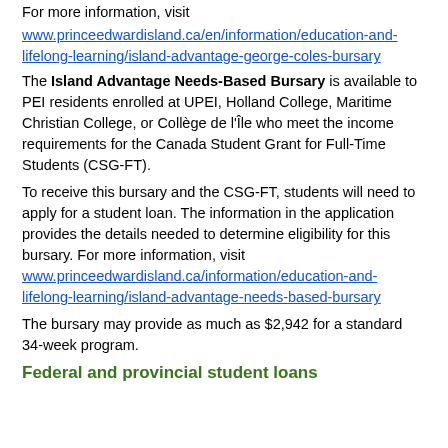For more information, visit
www.princeedwardisland.ca/en/information/education-and-lifelong-learning/island-advantage-george-coles-bursary
The Island Advantage Needs-Based Bursary is available to PEI residents enrolled at UPEI, Holland College, Maritime Christian College, or Collège de l'Île who meet the income requirements for the Canada Student Grant for Full-Time Students (CSG-FT).
To receive this bursary and the CSG-FT, students will need to apply for a student loan. The information in the application provides the details needed to determine eligibility for this bursary. For more information, visit www.princeedwardisland.ca/information/education-and-lifelong-learning/island-advantage-needs-based-bursary
The bursary may provide as much as $2,942 for a standard 34-week program.
Federal and provincial student loans